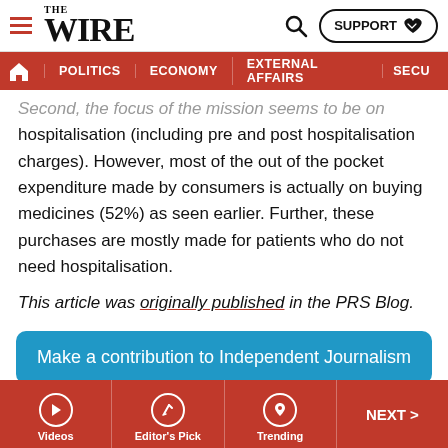THE WIRE | POLITICS | ECONOMY | EXTERNAL AFFAIRS | SECU...
Second, the focus of the mission seems to be on hospitalisation (including pre and post hospitalisation charges). However, most of the out of the pocket expenditure made by consumers is actually on buying medicines (52%) as seen earlier. Further, these purchases are mostly made for patients who do not need hospitalisation.
This article was originally published in the PRS Blog.
Make a contribution to Independent Journalism
I would like to contribute